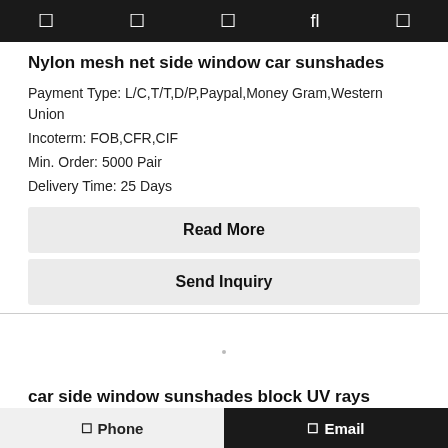Nylon mesh net side window car sunshades
Payment Type: L/C,T/T,D/P,Paypal,Money Gram,Western Union
Incoterm: FOB,CFR,CIF
Min. Order: 5000 Pair
Delivery Time: 25 Days
Read More
Send Inquiry
[Figure (other): Product image placeholder area]
car side window sunshades block UV rays
Payment Type: L/C,T/T,D/P,Paypal,Money Gram,Western Union
Phone   Email